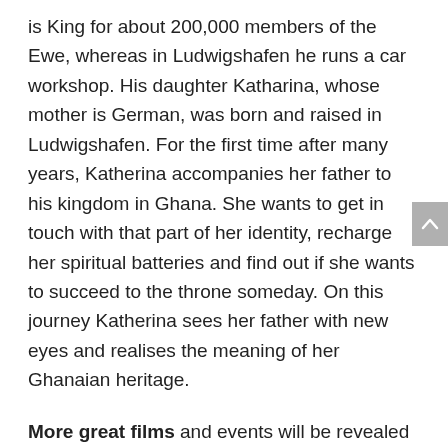is King for about 200,000 members of the Ewe, whereas in Ludwigshafen he runs a car workshop. His daughter Katharina, whose mother is German, was born and raised in Ludwigshafen. For the first time after many years, Katherina accompanies her father to his kingdom in Ghana. She wants to get in touch with that part of her identity, recharge her spiritual batteries and find out if she wants to succeed to the throne someday. On this journey Katherina sees her father with new eyes and realises the meaning of her Ghanaian heritage.
More great films and events will be revealed in the coming weeks as we lead up to the Festival.